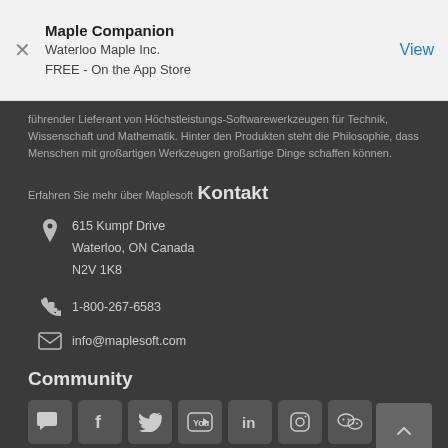[Figure (screenshot): App Store banner for Maple Companion by Waterloo Maple Inc., FREE - On the App Store, with View button]
führender Lieferant von Höchstleistungs-Softwarewerkzeugen für Technik, Wissenschaft und Mathematik. Hinter den Produkten steht die Philosophie, dass Menschen mit großartigen Werkzeugen großartige Dinge schaffen können.
Erfahren Sie mehr über Maplesoft
Kontakt
615 Kumpf Drive
Waterloo, ON Canada
N2V 1K8
1-800-267-6583
info@maplesoft.com
Community
[Figure (illustration): Row of social media icons: community forum, Facebook, Twitter, YouTube, LinkedIn, Instagram, WeChat]